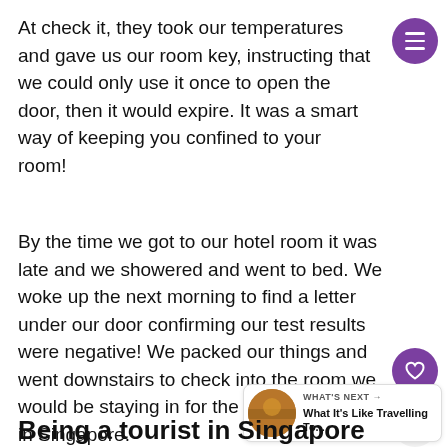At check it, they took our temperatures and gave us our room key, instructing that we could only use it once to open the door, then it would expire. It was a smart way of keeping you confined to your room!
By the time we got to our hotel room it was late and we showered and went to bed. We woke up the next morning to find a letter under our door confirming our test results were negative! We packed our things and went downstairs to check into the room we would be staying in for the rest of our time in Singapore.
Being a tourist in Singapore